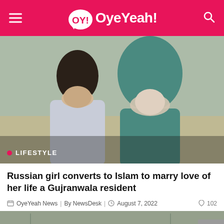OY! OyeYeah!
[Figure (photo): A young South Asian man and a young woman wearing a green hijab/dupatta sit together on a sofa. The image has a LIFESTYLE badge in the bottom-left corner.]
LIFESTYLE
Russian girl converts to Islam to marry love of her life a Gujranwala resident
OyeYeah News  By NewsDesk  August 7, 2022  102
[Figure (photo): Partial bottom strip showing another news article image.]